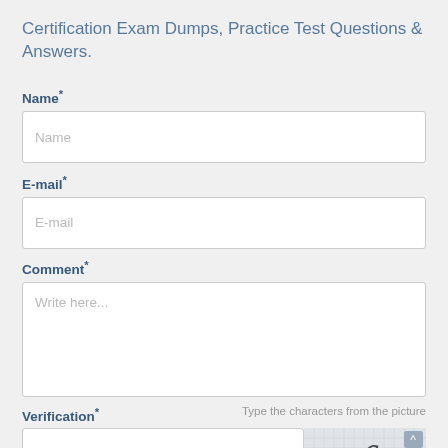Certification Exam Dumps, Practice Test Questions & Answers.
Name*
Name (placeholder)
E-mail*
E-mail (placeholder)
Comment*
Write here... (placeholder)
Verification*
Type the characters from the picture
Code (placeholder)